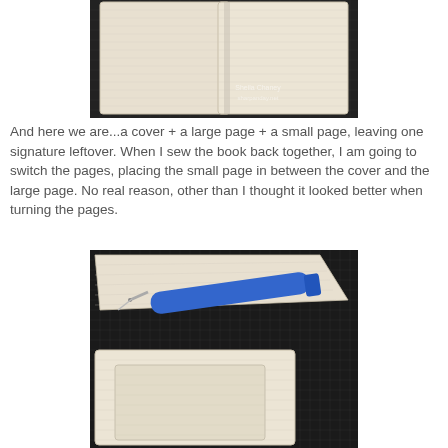[Figure (photo): Top-down photo of fabric pieces (covers and pages) laid out on a dark cutting mat with grid markings. Cream/white woven fabric pieces visible, with a watermark in the corner reading 'sharpanday.net'.]
And here we are...a cover + a large page + a small page, leaving one signature leftover. When I sew the book back together, I am going to switch the pages, placing the small page in between the cover and the large page. No real reason, other than I thought it looked better when turning the pages.
[Figure (photo): Photo showing fabric book pieces on a dark cutting mat, with a blue-handled seam ripper tool resting on top of the cream/white woven fabric pieces.]